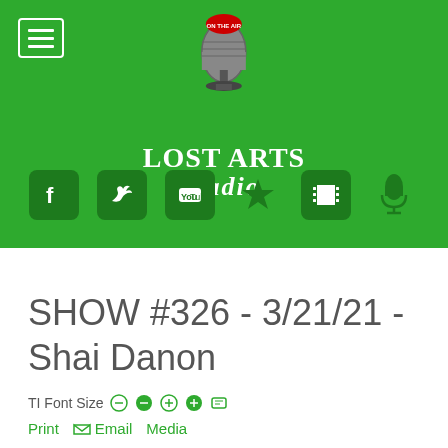[Figure (logo): Lost Arts Radio logo with microphone graphic, green background, and text 'LOST ARTS Radio']
SHOW #326 - 3/21/21 - Shai Danon
TI Font Size Print Email Media
Educating Parents To Protect Their Kids – Serving Freedom & Life On Earth, Shai Danon